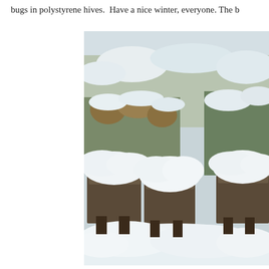bugs in polystyrene hives.  Have a nice winter, everyone. The b
[Figure (photo): Snow-covered beehives (polystyrene hives) with snow-laden trees and bushes in the background. Multiple white box-shaped hives are barely visible under thick snow coverage.]